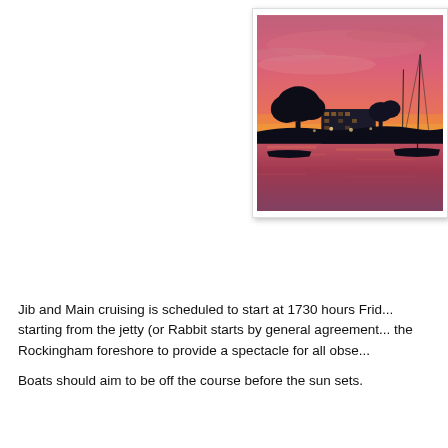[Figure (photo): Sunset photo showing a marina/foreshore scene with boats on water, silhouettes of trees and a multi-storey building against a vivid orange-pink-purple sunset sky reflecting on the water.]
Jib and Main cruising is scheduled to start at 1730 hours Frid... starting from the jetty (or Rabbit starts by general agreement... the Rockingham foreshore to provide a spectacle for all obse...
Boats should aim to be off the course before the sun sets.